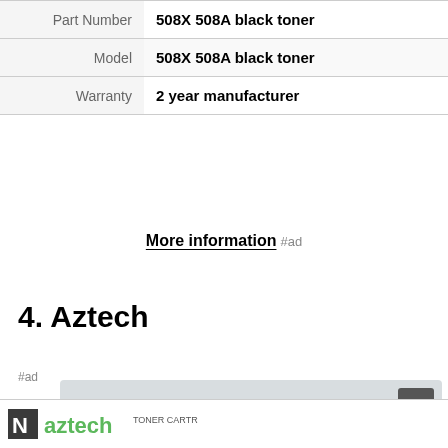|  |  |
| --- | --- |
| Part Number | 508X 508A black toner |
| Model | 508X 508A black toner |
| Warranty | 2 year manufacturer |
More information #ad
4. Aztech
#ad
As an Amazon Associate I earn from qualifying purchases. This website uses the only necessary cookies to ensure you get the best experience on our website. More information
[Figure (logo): Aztech toner cartridge product logo with green and black branding, partially visible at bottom]